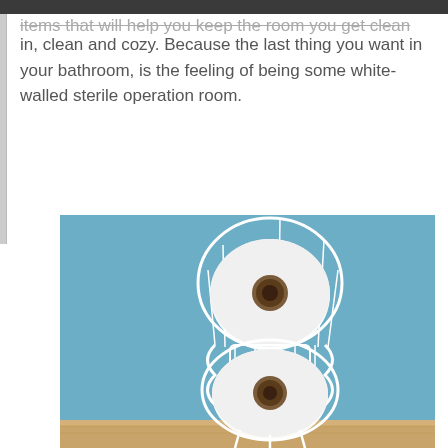items that will help you keep the room you get clean in, clean and cozy. Because the last thing you want in your bathroom, is the feeling of being some white-walled sterile operation room.
[Figure (photo): A white wire toilet paper holder stand with a decorative curved/wavy frame design, holding two rolls of toilet paper (one near the top and one near the bottom). The stand is photographed against a light blue wall with a wooden baseboard floor visible at the bottom.]